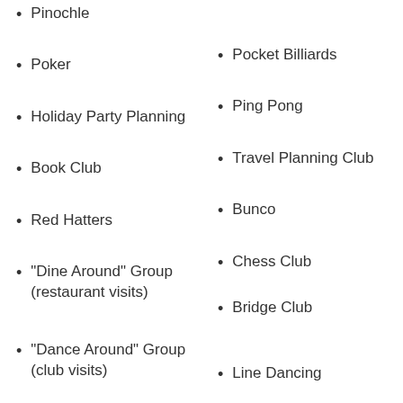Pinochle
Dining Around)
Poker
Pocket Billiards
Holiday Party Planning
Ping Pong
Book Club
Travel Planning Club
Red Hatters
Bunco
“Dine Around” Group (restaurant visits)
Chess Club
Bridge Club
“Dance Around” Group (club visits)
Line Dancing